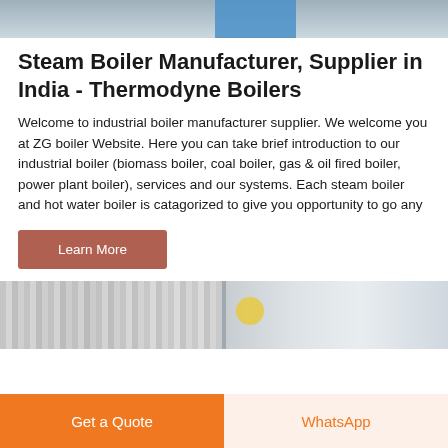[Figure (photo): Top partial photo of industrial boiler equipment — steelwork and machinery with blue component visible]
Steam Boiler Manufacturer, Supplier in India - Thermodyne Boilers
Welcome to industrial boiler manufacturer supplier. We welcome you at ZG boiler Website. Here you can take brief introduction to our industrial boiler (biomass boiler, coal boiler, gas & oil fired boiler, power plant boiler), services and our systems. Each steam boiler and hot water boiler is catagorized to give you opportunity to go any
Learn More
[Figure (photo): Two partial thumbnail images of industrial boiler equipment and machinery]
Get a Quote
WhatsApp